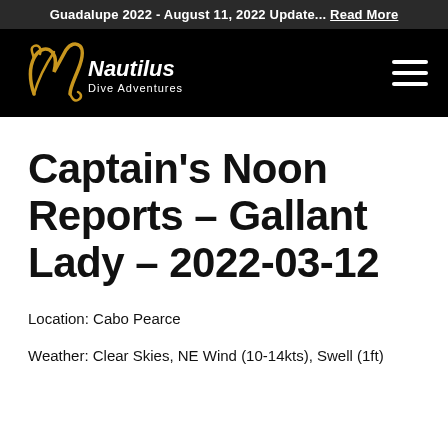Guadalupe 2022 - August 11, 2022 Update... Read More
[Figure (logo): Nautilus Dive Adventures logo with gold stylized N and white text]
Captain's Noon Reports – Gallant Lady – 2022-03-12
Location: Cabo Pearce
Weather: Clear Skies, NE Wind (10-14kts), Swell (1ft)